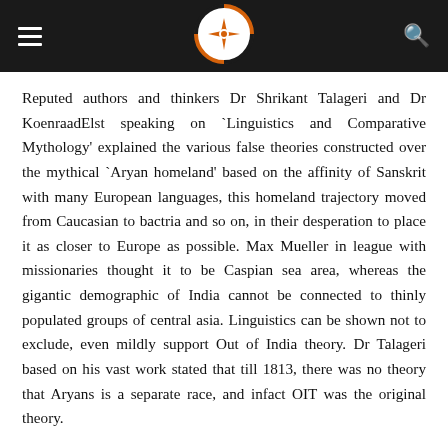Navigation header with hamburger menu, logo, and search icon
Reputed authors and thinkers Dr Shrikant Talageri and Dr KoenraadElst speaking on `Linguistics and Comparative Mythology' explained the various false theories constructed over the mythical `Aryan homeland' based on the affinity of Sanskrit with many European languages, this homeland trajectory moved from Caucasian to bactria and so on, in their desperation to place it as closer to Europe as possible. Max Mueller in league with missionaries thought it to be Caspian sea area, whereas the gigantic demographic of India cannot be connected to thinly populated groups of central asia. Linguistics can be shown not to exclude, even mildly support Out of India theory. Dr Talageri based on his vast work stated that till 1813, there was no theory that Aryans is a separate race, and infact OIT was the original theory.